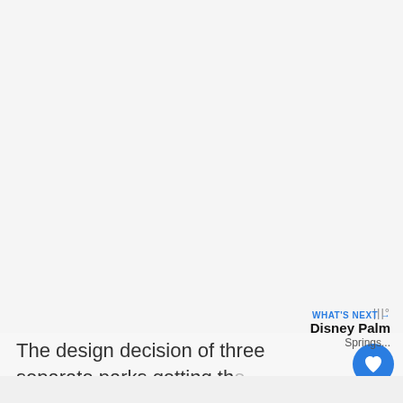[Figure (photo): Large image area (mostly white/light gray, appears to be a partially loaded or cropped photo) occupying the upper ~60% of the page.]
The design decision of three separate parks getting the MCU-themed attraction is deliberate. Parkgoers entering any Avengers Campus will join an immersive and interconnected global storyline as they're recruited to join the new, improved Avengers Initiative.
WHAT'S NEXT → Disney Palm Springs...